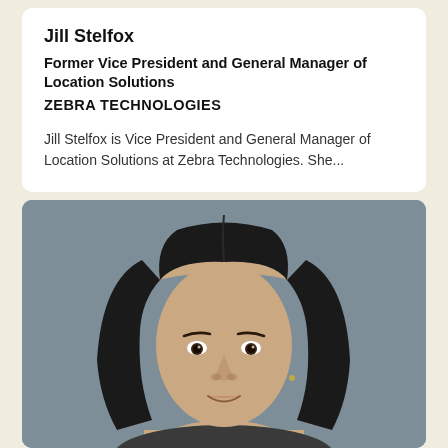Jill Stelfox
Former Vice President and General Manager of Location Solutions
ZEBRA TECHNOLOGIES
Jill Stelfox is Vice President and General Manager of Location Solutions at Zebra Technologies. She...
[Figure (photo): Professional headshot of Jill Stelfox, a woman with long dark straight hair, against a gray background.]